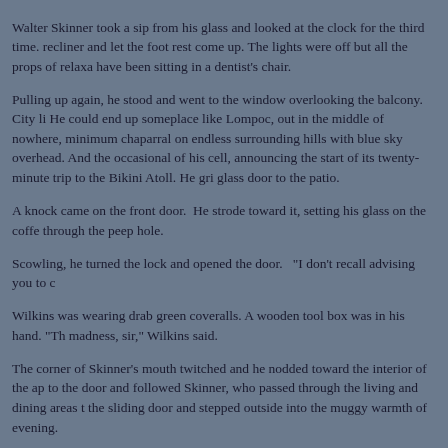Walter Skinner took a sip from his glass and looked at the clock for the third time. recliner and let the foot rest come up. The lights were off but all the props of relaxa have been sitting in a dentist's chair.
Pulling up again, he stood and went to the window overlooking the balcony. City li He could end up someplace like Lompoc, out in the middle of nowhere, minimum chaparral on endless surrounding hills with blue sky overhead. And the occasional of his cell, announcing the start of its twenty-minute trip to the Bikini Atoll. He gri glass door to the patio.
A knock came on the front door.  He strode toward it, setting his glass on the coffe through the peep hole.
Scowling, he turned the lock and opened the door.   "I don't recall advising you to c
Wilkins was wearing drab green coveralls. A wooden tool box was in his hand. "Th madness, sir," Wilkins said.
The corner of Skinner's mouth twitched and he nodded toward the interior of the ap to the door and followed Skinner, who passed through the living and dining areas t the sliding door and stepped outside into the muggy warmth of evening.
"I assume your note referred to Agent Scully," he said, pulling the door closed behi apartment hasn't been bugged, but I think we're safe out here." He sat down on a w Wilkins to do the same.
"Mulder came to see me in Owensburg Sunday," Wilkins said. "He told me Scully' man, whoever he is, and that you'd run into trouble. Said we'd be pulled yesterday right."